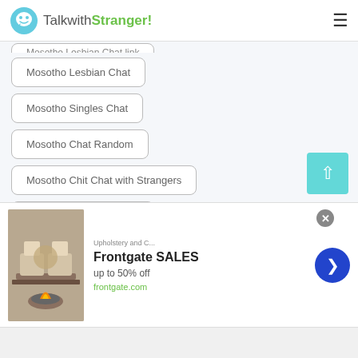TalkwithStranger!
Mosotho Lesbian Chat
Mosotho Singles Chat
Mosotho Chat Random
Mosotho Chit Chat with Strangers
Mosotho Chat With Girls
Mosotho Chat With Strangers
Mosotho Local Chat
Mosotho Group Chat
Mosotho Lonely Chat
[Figure (other): Advertisement banner for Frontgate SALES, up to 50% off, frontgate.com, with outdoor furniture image]